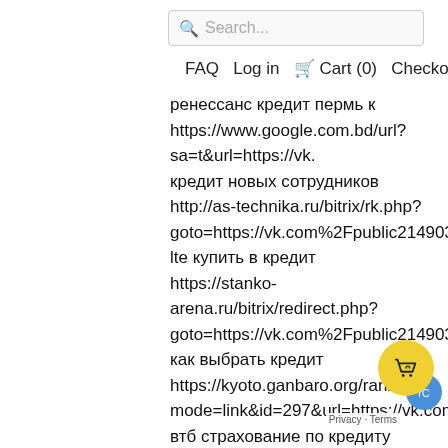[Figure (screenshot): Search bar with magnifier icon and placeholder text 'Search...']
FAQ  Log in  🛒 Cart (0)  Checkout
ренессанс кредит пермь к
https://www.google.com.bd/url?sa=t&url=https://vk.
кредит новых сотрудников
http://as-technika.ru/bitrix/rk.php?
goto=https://vk.com%2Fpublic214903756/
lte купить в кредит
https://stanko-arena.ru/bitrix/redirect.php?
goto=https://vk.com%2Fpublic214903756/
как выбрать кредит
https://kyoto.ganbaro.org/rank.cgi?
mode=link&id=297&url=https://vk.com/r...1480
втб страхование по кредиту наличным...
https://www.bergen.kommune.no/Shibboleth.../...